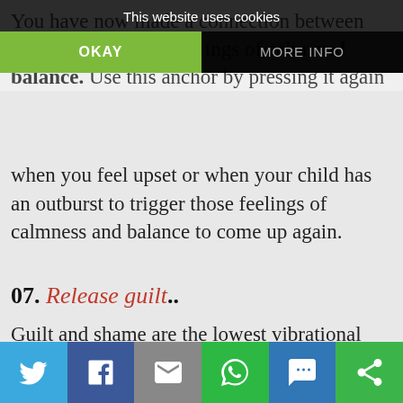You have now made a connection between that anchor and the feelings of calm and balance. Use this anchor by pressing it again when you feel upset or when your child has an outburst to trigger those feelings of calmness and balance to come up again.
[Figure (screenshot): Cookie consent banner overlay with 'This website uses cookies' text, OKAY button (green) and MORE INFO button (dark)]
07. Release guilt..
Guilt and shame are the lowest vibrational emotions a human can experience. I think of guilt and shame as existing in the emotional place farthest away from love, balance and compassion. Guilt not only keeps us from feeling self-compassion,
[Figure (infographic): Social sharing bar at bottom with Twitter, Facebook, Email, WhatsApp, SMS, and other share icons]